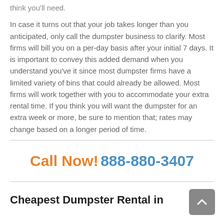think you'll need.
In case it turns out that your job takes longer than you anticipated, only call the dumpster business to clarify. Most firms will bill you on a per-day basis after your initial 7 days. It is important to convey this added demand when you understand you've it since most dumpster firms have a limited variety of bins that could already be allowed. Most firms will work together with you to accommodate your extra rental time. If you think you will want the dumpster for an extra week or more, be sure to mention that; rates may change based on a longer period of time.
Call Now! 888-880-3407
Cheapest Dumpster Rental in